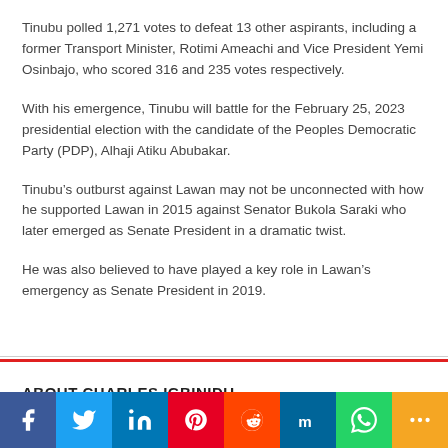Tinubu polled 1,271 votes to defeat 13 other aspirants, including a former Transport Minister, Rotimi Ameachi and Vice President Yemi Osinbajo, who scored 316 and 235 votes respectively.
With his emergence, Tinubu will battle for the February 25, 2023 presidential election with the candidate of the Peoples Democratic Party (PDP), Alhaji Atiku Abubakar.
Tinubu’s outburst against Lawan may not be unconnected with how he supported Lawan in 2015 against Senator Bukola Saraki who later emerged as Senate President in a dramatic twist.
He was also believed to have played a key role in Lawan’s emergency as Senate President in 2019.
ABOUT CHARLES IGBINIDU
[Figure (infographic): Social media share bar with icons for Facebook, Twitter, LinkedIn, Pinterest, Reddit, Mix, WhatsApp, and More]